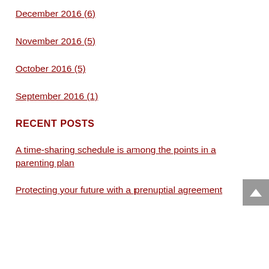December 2016 (6)
November 2016 (5)
October 2016 (5)
September 2016 (1)
RECENT POSTS
A time-sharing schedule is among the points in a parenting plan
Protecting your future with a prenuptial agreement